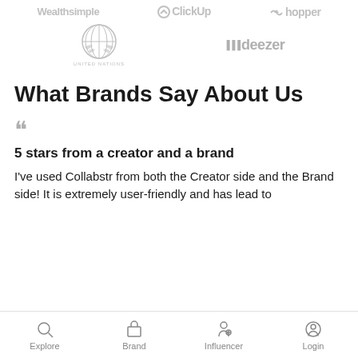[Figure (logo): Row of logos: Wealthsimple, ClickUp, Hopper (grayed out)]
[Figure (logo): Row of logos: United Nations emblem with text, Deezer logo (grayed out)]
What Brands Say About Us
““
5 stars from a creator and a brand
I've used Collabstr from both the Creator side and the Brand side! It is extremely user-friendly and has lead to
Explore  Brand  Influencer  Login